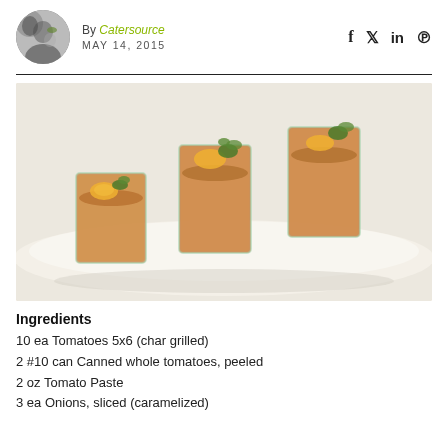By Catersource MAY 14, 2015
[Figure (photo): Three square glass cups filled with orange-brown gazpacho soup, garnished with herbs and orange slices, arranged on a white ceramic platter.]
Ingredients
10 ea Tomatoes 5x6 (char grilled)
2 #10 can Canned whole tomatoes, peeled
2 oz Tomato Paste
3 ea Onions, sliced (caramelized)